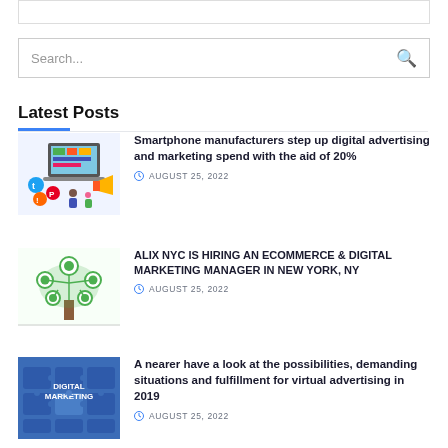[Figure (screenshot): Top navigation bar (partially visible, clipped at top)]
[Figure (screenshot): Search input box with magnifying glass icon]
Latest Posts
[Figure (illustration): Digital marketing illustration with laptop, social media icons, and people]
Smartphone manufacturers step up digital advertising and marketing spend with the aid of 20%
AUGUST 25, 2022
[Figure (illustration): Green tree with gear/cog icons representing digital marketing or technology]
ALIX NYC IS HIRING AN ECOMMERCE & DIGITAL MARKETING MANAGER IN NEW YORK, NY
AUGUST 25, 2022
[Figure (illustration): Blue puzzle pieces with DIGITAL MARKETING text]
A nearer have a look at the possibilities, demanding situations and fulfillment for virtual advertising in 2019
AUGUST 25, 2022